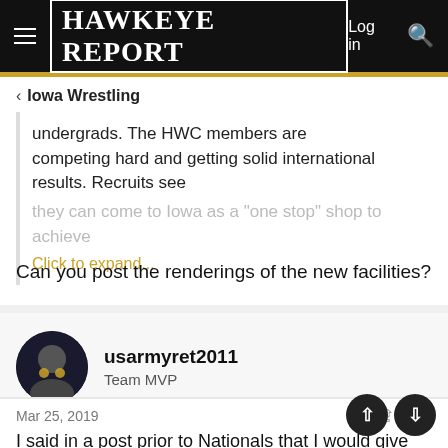HAWKEYE REPORT  Log in
< Iowa Wrestling
undergrads. The HWC members are competing hard and getting solid international results. Recruits see they can come to Iowa as a "one stop" shop to achieve
Click to expand...
Can you post the renderings of the new facilities?
usarmyret2011
Team MVP
Mar 25, 2019   #19
I said in a post prior to Nationals that I would give $100 for three champs, $500 for two champs or $100 for one